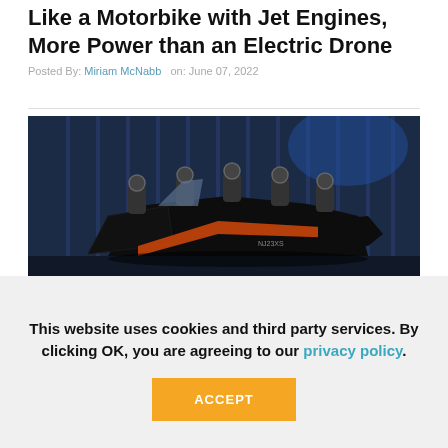Like a Motorbike with Jet Engines, More Power than an Electric Drone
Posted By: Miriam McNabb   on: June 07, 2022
[Figure (photo): A sleek black futuristic personal aerial vehicle resembling a motorbike with multiple jet/motor units mounted on top, photographed in a dark hangar setting with blue ambient lighting. The vehicle has orange accent stripes and the label NJ23XS visible on the tail.]
This website uses cookies and third party services. By clicking OK, you are agreeing to our privacy policy.
ACCEPT